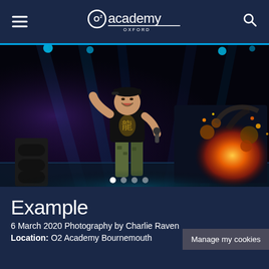O2 Academy Oxford
[Figure (photo): Concert photograph showing a performer on stage in a black graphic t-shirt and camouflage pants, holding a microphone, with dramatic blue stage lighting beams and a large explosion/pyrotechnic effect visible on a screen behind them to the right.]
Example
6 March 2020 Photography by Charlie Raven
Location: O2 Academy Bournemouth